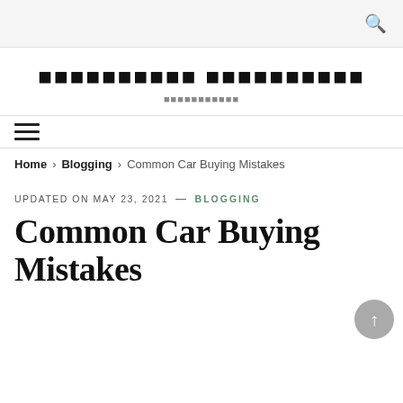🔍 (search icon)
██████████ ██████████
███████████
≡ (hamburger menu)
Home › Blogging › Common Car Buying Mistakes
UPDATED ON MAY 23, 2021 — BLOGGING
Common Car Buying Mistakes